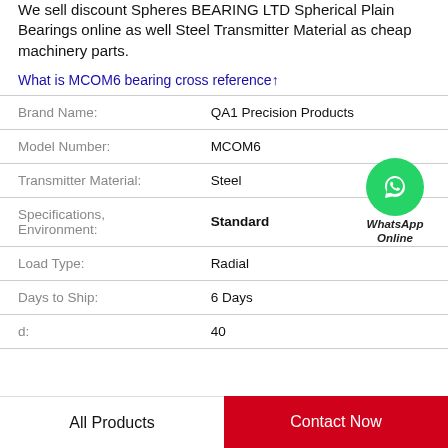We sell discount Spheres BEARING LTD Spherical Plain Bearings online as well Steel Transmitter Material as cheap machinery parts.
What is MCOM6 bearing cross reference↑
| Field | Value |
| --- | --- |
| Brand Name: | QA1 Precision Products |
| Model Number: | MCOM6 |
| Transmitter Material: | Steel |
| Specifications, Environment: | Standard |
| Load Type: | Radial |
| Days to Ship: | 6 Days |
| d: | 40 |
[Figure (illustration): WhatsApp Online contact button with green phone icon circle and italic text 'WhatsApp Online']
All Products
Contact Now